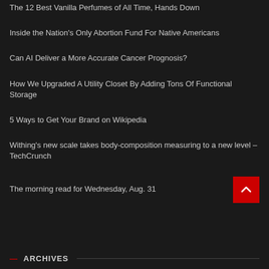The 12 Best Vanilla Perfumes of All Time, Hands Down
Inside the Nation's Only Abortion Fund For Native Americans
Can AI Deliver a More Accurate Cancer Prognosis?
How We Upgraded A Utility Closet By Adding Tons Of Functional Storage
5 Ways to Get Your Brand on Wikipedia
Withing's new scale takes body-composition measuring to a new level – TechCrunch
The morning read for Wednesday, Aug. 31
— ARCHIVES